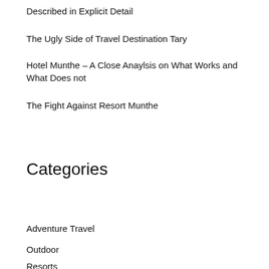Described in Explicit Detail
The Ugly Side of Travel Destination Tary
Hotel Munthe – A Close Anaylsis on What Works and What Does not
The Fight Against Resort Munthe
Categories
Adventure Travel
Outdoor
Resorts